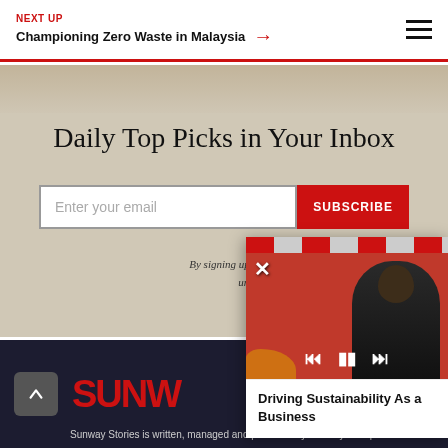NEXT UP | Championing Zero Waste in Malaysia →
Daily Top Picks in Your Inbox
Enter your email | SUBSCRIBE
By signing up, you have agreed to our T... understood our ...
[Figure (photo): Floating video player panel showing a woman seated at a conference table with red banners in background. Video controls (skip, pause, forward) are visible. Close (X) button in top left. Caption reads: Driving Sustainability As a Business]
Driving Sustainability As a Business
Sunway Stories is written, managed and produced by Sunway Group.